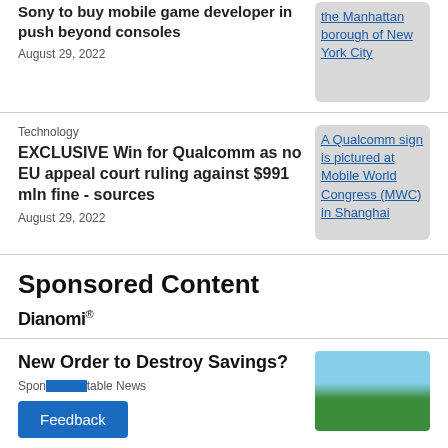Sony to buy mobile game developer in push beyond consoles
August 29, 2022
[Figure (photo): Link image: the Manhattan borough of New York City]
Technology
EXCLUSIVE Win for Qualcomm as no EU appeal court ruling against $991 mln fine - sources
August 29, 2022
[Figure (photo): Link image: A Qualcomm sign is pictured at Mobile World Congress (MWC) in Shanghai]
Sponsored Content
[Figure (logo): Dianomi logo]
New Order to Destroy Savings?
Sponsored by Responsible Stable News
[Figure (photo): White House photo]